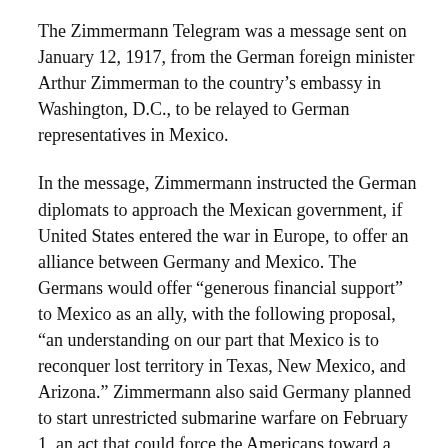The Zimmermann Telegram was a message sent on January 12, 1917, from the German foreign minister Arthur Zimmerman to the country's embassy in Washington, D.C., to be relayed to German representatives in Mexico.
In the message, Zimmermann instructed the German diplomats to approach the Mexican government, if United States entered the war in Europe, to offer an alliance between Germany and Mexico. The Germans would offer “generous financial support” to Mexico as an ally, with the following proposal, “an understanding on our part that Mexico is to reconquer lost territory in Texas, New Mexico, and Arizona.” Zimmermann also said Germany planned to start unrestricted submarine warfare on February 1, an act that could force the Americans toward a conflict with Germany.